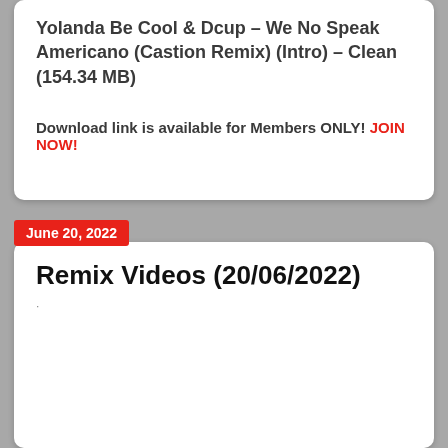Yolanda Be Cool & Dcup – We No Speak Americano (Castion Remix) (Intro) – Clean (154.34 MB)
Download link is available for Members ONLY! JOIN NOW!
June 20, 2022
Remix Videos (20/06/2022)
[Figure (photo): A vinyl record with a blue dripping paint graphic logo for DJ record service website, with text at the bottom reading djpoolrecords.com]